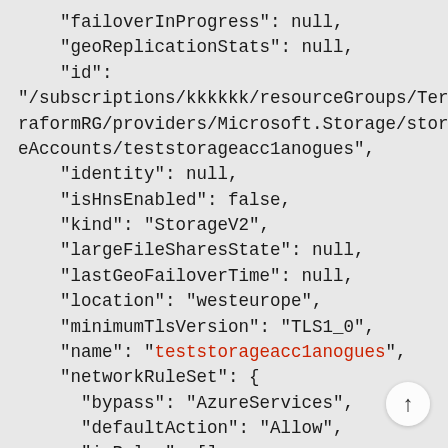"failoverInProgress": null,
    "geoReplicationStats": null,
    "id":
"/subscriptions/kkkkkk/resourceGroups/TerraformRG/providers/Microsoft.Storage/storageAccounts/teststorageacc1anogues",
    "identity": null,
    "isHnsEnabled": false,
    "kind": "StorageV2",
    "largeFileSharesState": null,
    "lastGeoFailoverTime": null,
    "location": "westeurope",
    "minimumTlsVersion": "TLS1_0",
    "name": "teststorageacc1anogues",
    "networkRuleSet": {
      "bypass": "AzureServices",
      "defaultAction": "Allow",
      "ipRules": [],
      "virtualNetworkRules": []